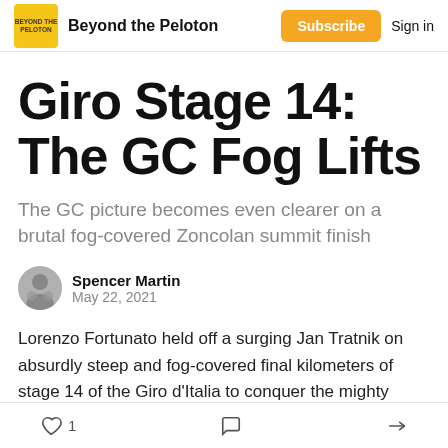Beyond the Peloton | Subscribe | Sign in
Giro Stage 14: The GC Fog Lifts
The GC picture becomes even clearer on a brutal fog-covered Zoncolan summit finish
Spencer Martin
May 22, 2021
Lorenzo Fortunato held off a surging Jan Tratnik on absurdly steep and fog-covered final kilometers of stage 14 of the Giro d'Italia to conquer the mighty Monte
1 | comment | share